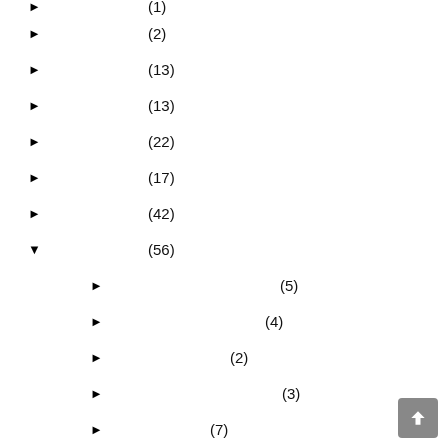► (2)
► (13)
► (13)
► (22)
► (17)
► (42)
▼ (56)
► (5)
► (4)
► (2)
► (3)
► (7)
► (4)
► (4)
► (5)
► (4)
► (5)
▼ (5)